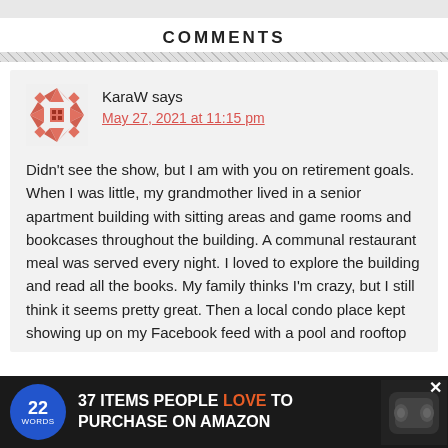COMMENTS
KaraW says
May 27, 2021 at 11:15 pm

Didn't see the show, but I am with you on retirement goals. When I was little, my grandmother lived in a senior apartment building with sitting areas and game rooms and bookcases throughout the building. A communal restaurant meal was served every night. I loved to explore the building and read all the books. My family thinks I'm crazy, but I still think it seems pretty great. Then a local condo place kept showing up on my Facebook feed with a pool and rooftop...
[Figure (infographic): Advertisement banner: '37 ITEMS PEOPLE LOVE TO PURCHASE ON AMAZON' with 22 Words logo and product image of earbuds, with CLOSE button]